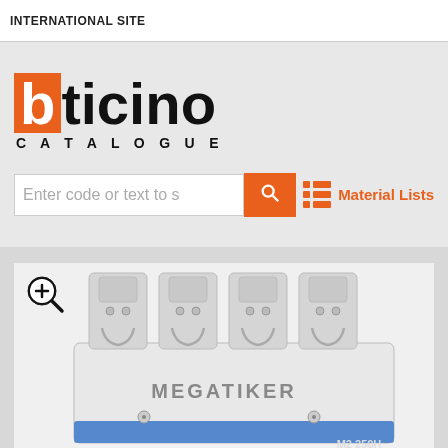INTERNATIONAL SITE
[Figure (logo): BTicino Catalogue logo with orange 'b' block and black 'ticino' text, with 'CATALOGUE' in spaced letters below]
Enter code or text to search
Material Lists
[Figure (photo): BTicino MEGATIKER M2 250H molded case circuit breaker, white/grey body with multiple poles, product photograph]